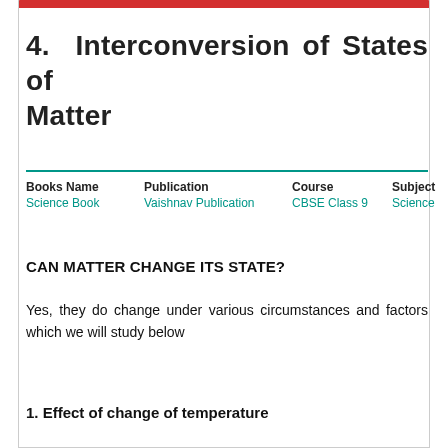4. Interconversion of States of Matter
| Books Name | Publication | Course | Subject |
| --- | --- | --- | --- |
| Science Book | Vaishnav Publication | CBSE Class 9 | Science |
CAN MATTER CHANGE ITS STATE?
Yes, they do change under various circumstances and factors which we will study below
1. Effect of change of temperature